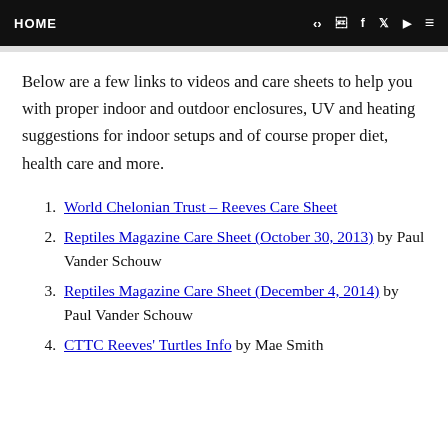HOME
Below are a few links to videos and care sheets to help you with proper indoor and outdoor enclosures, UV and heating suggestions for indoor setups and of course proper diet, health care and more.
World Chelonian Trust – Reeves Care Sheet
Reptiles Magazine Care Sheet (October 30, 2013) by Paul Vander Schouw
Reptiles Magazine Care Sheet (December 4, 2014) by Paul Vander Schouw
CTTC Reeves' Turtles Info by Mae Smith